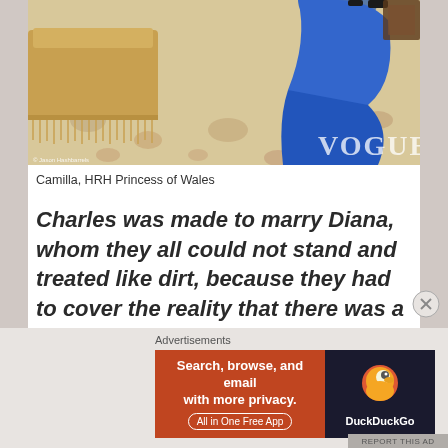[Figure (photo): Photo of Camilla standing in a room with a patterned carpet and a gold fringed sofa visible. She is wearing a blue dress. The Vogue logo is watermarked on the lower right of the image.]
Camilla, HRH Princess of Wales
Charles was made to marry Diana, whom they all could not stand and treated like dirt, because they had to cover the reality that there was a relocated illegitimate, sequestered in the colonies about whom
Advertisements
[Figure (screenshot): DuckDuckGo advertisement banner. Left side orange background reads 'Search, browse, and email with more privacy. All in One Free App'. Right side dark background shows DuckDuckGo duck logo and brand name.]